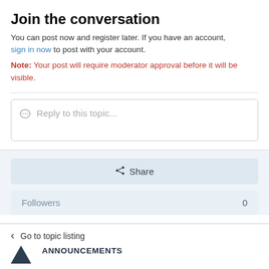Join the conversation
You can post now and register later. If you have an account, sign in now to post with your account.
Note: Your post will require moderator approval before it will be visible.
Reply to this topic...
Share
Followers   0
Go to topic listing
ANNOUNCEMENTS